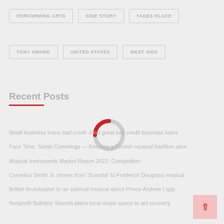PERFORMING ARTS
SIDE STORY
TAKES PLACE
TONY AWARD
UNITED STATES
WEST SIDE
Recent Posts
[Figure (other): Loading spinner donut shape, partially red and partially gray]
Small business loans bad credit -Find great bad credit business loans
Face Time: Sarah Cummings — Keeping a Finnish musical tradition alive
Musical Instruments Market Report 2022: Competition
Cornelius Smith Jr. moves from 'Scandal' to Frederick Douglass musical
British broadcaster to air satirical musical about Prince Andrew | app
Nonprofit Sobriety Sounds plans local music space to aid recovery